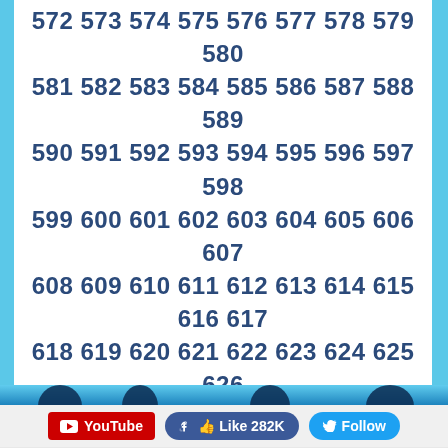572 573 574 575 576 577 578 579 580 581 582 583 584 585 586 587 588 589 590 591 592 593 594 595 596 597 598 599 600 601 602 603 604 605 606 607 608 609 610 611 612 613 614 615 616 617 618 619 620 621 622 623 624 625 626 627 628 629 630 631 632 633 634 635 636 637 638 639 640 641 642 643 644 645 646 647 648 649 650 651 652 653 654 655 656 657 658 659 660 661 662 663 664 665 666 667 668 669 670 671 672 673 674 675 676 677 678 679 680 681 682 683 684 685 686 687 688 689 690 691 692 693 694 695 696 697 698 699 700 701 702 703 704 705 706 707 ...
[Figure (photo): Blue background with dancer silhouettes]
YouTube  Like 282K  Follow